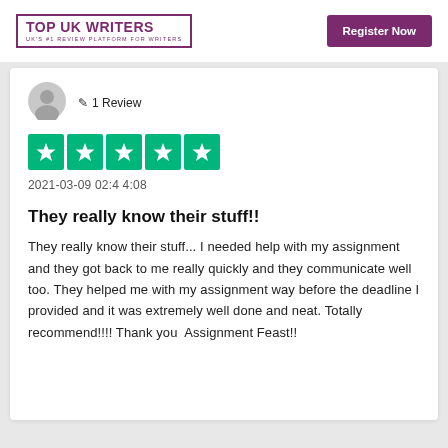TOP UK WRITERS — UK'S #1 REVIEW PLATFORM FOR WRITERS | Register Now
[Figure (illustration): Grey silhouette avatar of a person]
✎ 1 Review
[Figure (other): Five green Trustpilot-style star rating boxes]
2021-03-09 02:44:08
They really know their stuff!!
They really know their stuff... I needed help with my assignment and they got back to me really quickly and they communicate well too. They helped me with my assignment way before the deadline I provided and it was extremely well done and neat. Totally recommend!!!! Thank you  Assignment Feast!!